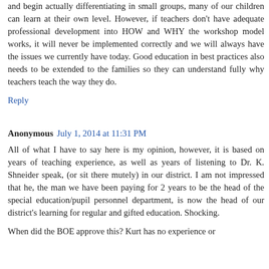and begin actually differentiating in small groups, many of our children can learn at their own level. However, if teachers don't have adequate professional development into HOW and WHY the workshop model works, it will never be implemented correctly and we will always have the issues we currently have today. Good education in best practices also needs to be extended to the families so they can understand fully why teachers teach the way they do.
Reply
Anonymous  July 1, 2014 at 11:31 PM
All of what I have to say here is my opinion, however, it is based on years of teaching experience, as well as years of listening to Dr. K. Shneider speak, (or sit there mutely) in our district. I am not impressed that he, the man we have been paying for 2 years to be the head of the special education/pupil personnel department, is now the head of our district's learning for regular and gifted education. Shocking.
When did the BOE approve this? Kurt has no experience or